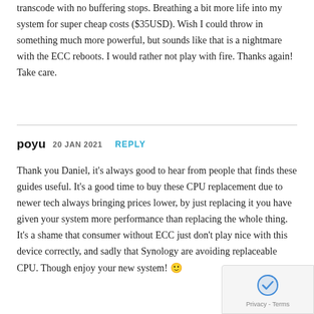transcode with no buffering stops. Breathing a bit more life into my system for super cheap costs ($35USD). Wish I could throw in something much more powerful, but sounds like that is a nightmare with the ECC reboots. I would rather not play with fire. Thanks again! Take care.
poyu 20 JAN 2021 REPLY
Thank you Daniel, it's always good to hear from people that finds these guides useful. It's a good time to buy these CPU replacement due to newer tech always bringing prices lower, by just replacing it you have given your system more performance than replacing the whole thing.
It's a shame that consumer without ECC just don't play nice with this device correctly, and sadly that Synology are avoiding replaceable CPU. Though enjoy your new system! 🙂